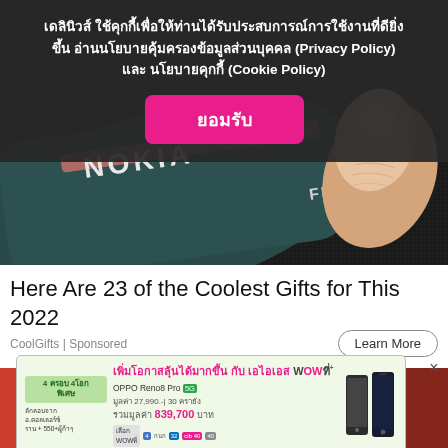[Figure (screenshot): Nokia phone close-up photo showing NOKIA logo and FIT text with finger pressing, dark background]
เดลินิวส์ ใช้คุกกี้เพื่อให้ท่านได้รับประสบการณ์การใช้งานที่ดียิ่งขึ้น อ่านนโยบายคุ้มครองข้อมูลส่วนบุคคล (Privacy Policy) และ นโยบายคุกกี้ (Cookie Policy)
ยอมรับ
Here Are 23 of the Coolest Gifts for This 2022
CoolGifts | Sponsored
Learn More
[Figure (screenshot): AIS WOWT+ advertisement banner for OPPO Reno8 Pro 5G, price 27,990 baht, accumulated value 839,700 baht]
×